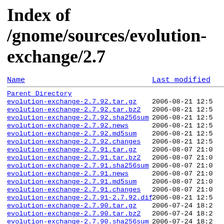Index of /gnome/sources/evolution-exchange/2.7
| Name | Last modified |
| --- | --- |
| Parent Directory |  |
| evolution-exchange-2.7.92.tar.gz | 2006-08-21 12:5 |
| evolution-exchange-2.7.92.tar.bz2 | 2006-08-21 12:5 |
| evolution-exchange-2.7.92.sha256sum | 2006-08-21 12:5 |
| evolution-exchange-2.7.92.news | 2006-08-21 12:5 |
| evolution-exchange-2.7.92.md5sum | 2006-08-21 12:5 |
| evolution-exchange-2.7.92.changes | 2006-08-21 12:5 |
| evolution-exchange-2.7.91.tar.gz | 2006-08-07 21:0 |
| evolution-exchange-2.7.91.tar.bz2 | 2006-08-07 21:0 |
| evolution-exchange-2.7.91.sha256sum | 2006-08-07 21:0 |
| evolution-exchange-2.7.91.news | 2006-08-07 21:0 |
| evolution-exchange-2.7.91.md5sum | 2006-08-07 21:0 |
| evolution-exchange-2.7.91.changes | 2006-08-07 21:0 |
| evolution-exchange-2.7.91-2.7.92.diff.gz | 2006-08-21 12:5 |
| evolution-exchange-2.7.90.tar.gz | 2006-07-24 18:2 |
| evolution-exchange-2.7.90.tar.bz2 | 2006-07-24 18:2 |
| evolution-exchange-2.7.90.sha256sum | 2006-07-24 18:2 |
| evolution-exchange-2.7.90.news | 2006-07-24 18:2 |
| evolution-exchange-2.7.90.md5sum | 2006-07-24 18:2 |